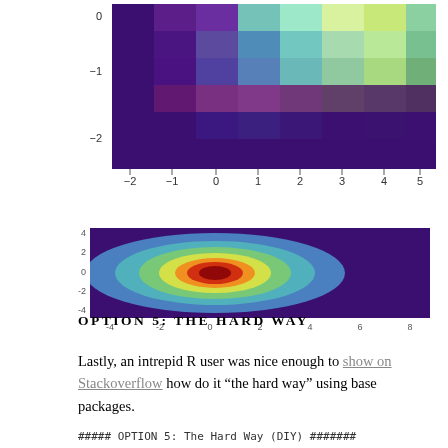[Figure (continuous-plot): Heatmap/density plot showing a 2D distribution. X-axis ranges from -2 to 5, Y-axis shows values 0, -1, -2. Colors range from purple/blue (low) to cyan/green/yellow (high). The hot region is near x=0 to x=2 at y=0, showing a broad ridge of high density.]
[Figure (continuous-plot): Smaller 2D kernel density heatmap. No visible axis tick labels. Colors range from purple/blue (low) through cyan, yellow, orange, red (high). The hot spot is near the center-left, forming an elliptical red core surrounded by orange, yellow, green, cyan, and blue.]
OPTION 5: THE HARD WAY
Lastly, an intrepid R user was nice enough to show on Stackoverflow how do it “the hard way” using base packages.
##### OPTION 5: The Hard Way (DIY) #######